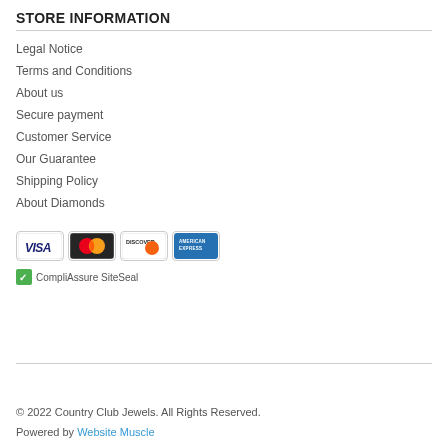STORE INFORMATION
Legal Notice
Terms and Conditions
About us
Secure payment
Customer Service
Our Guarantee
Shipping Policy
About Diamonds
[Figure (other): Payment method logos: VISA, MasterCard, Discover, American Express]
[Figure (other): CompliAssure SiteSeal badge]
© 2022 Country Club Jewels. All Rights Reserved.
Powered by Website Muscle